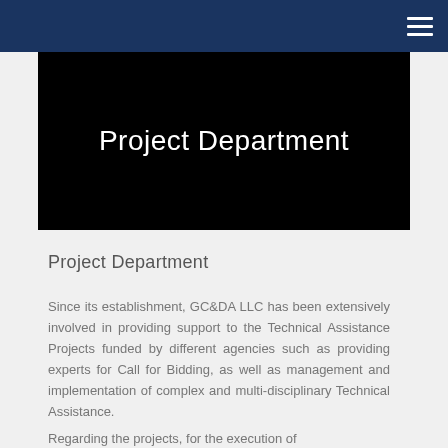Project Department
Project Department
Since its establishment, GC&DA LLC has been extensively involved in providing support to the Technical Assistance Projects funded by different agencies such as providing experts for Call for Bidding, as well as management and implementation of complex and multi-disciplinary Technical Assistance.
Regarding the projects, for the execution of